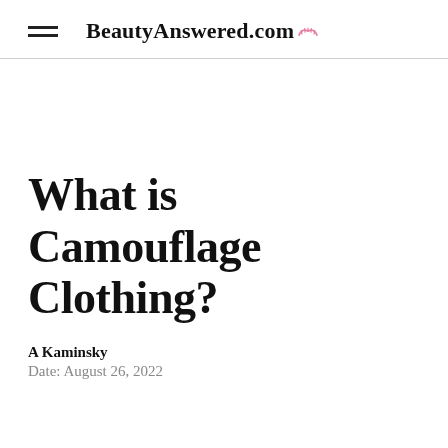BeautyAnswered.com
What is Camouflage Clothing?
A Kaminsky
Date: August 26, 2022